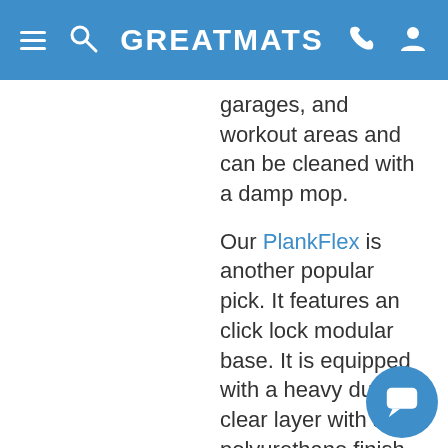GREATMATS
garages, and workout areas and can be cleaned with a damp mop.
Our PlankFlex is another popular pick. It features an click lock modular base. It is equipped with a heavy duty clear layer with a polyurethane finish, keeping it appearing close to new as it resists wear.